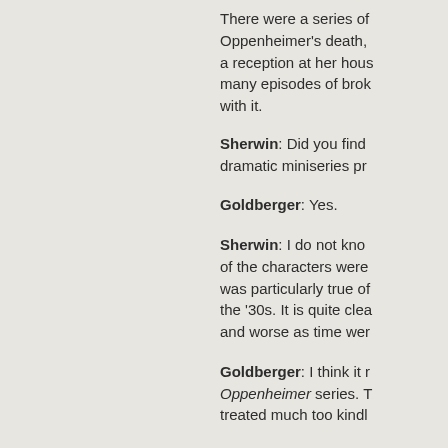There were a series of Oppenheimer's death, a reception at her house many episodes of brok with it.
Sherwin: Did you find dramatic miniseries pr
Goldberger: Yes.
Sherwin: I do not kno of the characters were was particularly true o the '30s. It is quite clea and worse as time wer
Goldberger: I think it r Oppenheimer series. T treated much too kindl